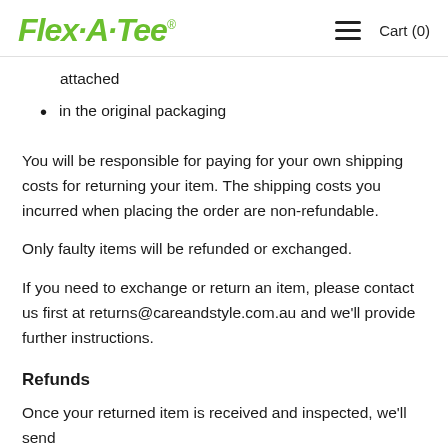Flex·A·Tee   ≡   Cart (0)
attached
in the original packaging
You will be responsible for paying for your own shipping costs for returning your item. The shipping costs you incurred when placing the order are non-refundable.
Only faulty items will be refunded or exchanged.
If you need to exchange or return an item, please contact us first at returns@careandstyle.com.au and we'll provide further instructions.
Refunds
Once your returned item is received and inspected, we'll send